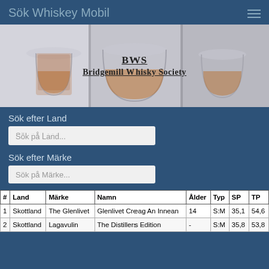Sök Whiskey Mobil
[Figure (photo): Hero image showing whisky glasses with amber liquid, overlaid with text 'BWS' and 'Bridgemill Whisky Society']
Sök efter Land
Sök på Land...
Sök efter Märke
Sök på Märke...
| # | Land | Märke | Namn | Ålder | Typ | SP | TP |
| --- | --- | --- | --- | --- | --- | --- | --- |
| 1 | Skottland | The Glenlivet | Glenlivet Creag An Innean | 14 | S:M | 35,1 | 54,6 |
| 2 | Skottland | Lagavulin | The Distillers Edition | - | S:M | 35,8 | 53,8 |